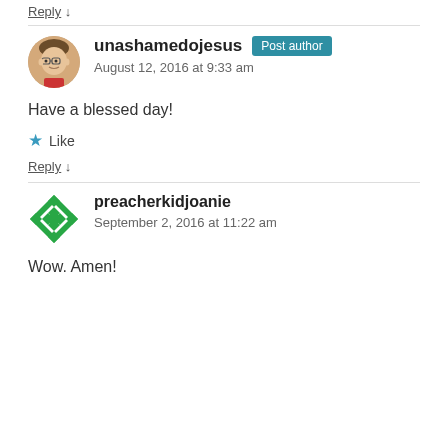Reply ↓
unashamedojesus  Post author
August 12, 2016 at 9:33 am
Have a blessed day!
★ Like
Reply ↓
preacherkidjoanie
September 2, 2016 at 11:22 am
Wow. Amen!